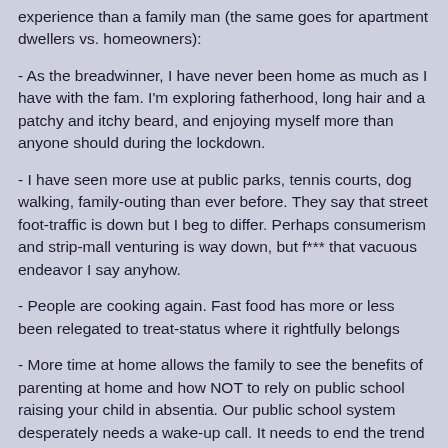experience than a family man (the same goes for apartment dwellers vs. homeowners):
- As the breadwinner, I have never been home as much as I have with the fam. I'm exploring fatherhood, long hair and a patchy and itchy beard, and enjoying myself more than anyone should during the lockdown.
- I have seen more use at public parks, tennis courts, dog walking, family-outing than ever before. They say that street foot-traffic is down but I beg to differ. Perhaps consumerism and strip-mall venturing is way down, but f*** that vacuous endeavor I say anyhow.
- People are cooking again. Fast food has more or less been relegated to treat-status where it rightfully belongs
- More time at home allows the family to see the benefits of parenting at home and how NOT to rely on public school raising your child in absentia. Our public school system desperately needs a wake-up call. It needs to end the trend of politically-charged mission-statements and remove itself back to second-fiddle status when it comes to raising our children.
- The fact that this being a great social experiment has been lost on those decrying the lockdown. We are still unpacking the effects of it, but I will repeat that the gov't has essentially blown its wad for all to see. Future generations will be able